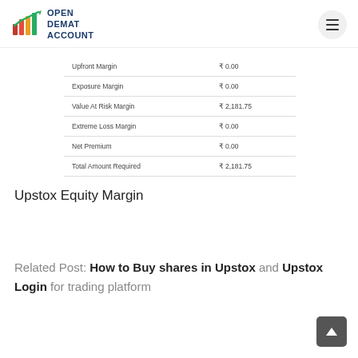Open Demat Account
|  |  |
| --- | --- |
| Upfront Margin | ₹0.00 |
| Exposure Margin | ₹0.00 |
| Value At Risk Margin | ₹2,181.75 |
| Extreme Loss Margin | ₹0.00 |
| Net Premium | ₹0.00 |
| Total Amount Required | ₹2,181.75 |
Upstox Equity Margin
Related Post: How to Buy shares in Upstox and Upstox Login for trading platform